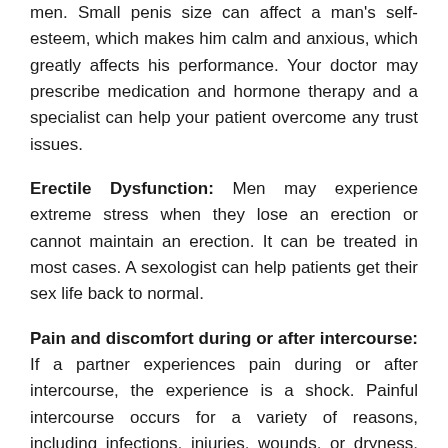men. Small penis size can affect a man's self-esteem, which makes him calm and anxious, which greatly affects his performance. Your doctor may prescribe medication and hormone therapy and a specialist can help your patient overcome any trust issues.
Erectile Dysfunction: Men may experience extreme stress when they lose an erection or cannot maintain an erection. It can be treated in most cases. A sexologist can help patients get their sex life back to normal.
Pain and discomfort during or after intercourse: If a partner experiences pain during or after intercourse, the experience is a shock. Painful intercourse occurs for a variety of reasons, including infections, injuries, wounds, or dryness. The same treatment is available. It is very important to see a doctor and take good care of yourself instead of waiting in silence for infection and suffering.